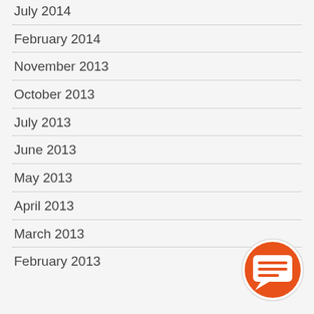July 2014
February 2014
November 2013
October 2013
July 2013
June 2013
May 2013
April 2013
March 2013
February 2013
[Figure (illustration): Orange circular chat/messaging icon button in the bottom-right area of the page]